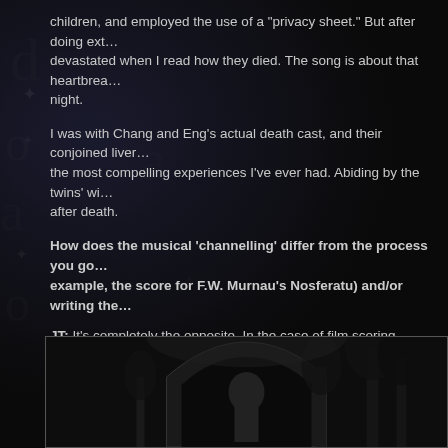children, and employed the use of a "privacy sheet." But after doing ext... devastated when I read how they died. The song is about that heartbrea... night.
I was with Chang and Eng's actual death cast, and their conjoined liver... the most compelling experiences I've ever had. Abiding by the twins' wi... after death.
How does the musical 'channelling' differ from the process you go... example, the score for F.W. Murnau's Nosferatu) and/or writing the...
JT: It's completely the opposite. In the case of film scoring, visuals dicta... emotional cues–serving them. Channeling music is like jumping off a cli... visceral reaction to an energy, a sensation. When I was scoring Nosferatu, I spent so much time in Murnau's eerie... the present. I remember vividly crossing a busy San Francisco street, lo... scurrying everywhere in a grainy, chiaroscuro haze. When writing songs for my own albums, I get to take the reins. That pro...
[Figure (photo): Black and white film still or photograph, possibly from Nosferatu or similar early horror film, showing a gothic arch or doorway scene]